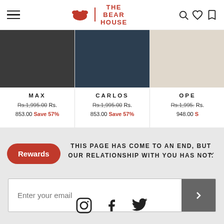THE BEAR HOUSE
[Figure (photo): Product listing for MAX — person wearing dark clothing, discounted price Rs. 853.00, Save 57%]
MAX
Rs.1,995.00 Rs. 853.00 Save 57%
[Figure (photo): Product listing for CARLOS — person wearing navy clothing, discounted price Rs. 853.00, Save 57%]
CARLOS
Rs.1,995.00 Rs. 853.00 Save 57%
[Figure (photo): Product listing for OPE (partially visible) — light colored fabric, discounted price Rs. 948.00]
OPE
Rs.1,995. Rs. 948.00 S
THIS PAGE HAS COME TO AN END, BUT OUR RELATIONSHIP WITH YOU HAS NOT.
Enter your email
[Figure (logo): Social media icons: Instagram, Facebook, Twitter]